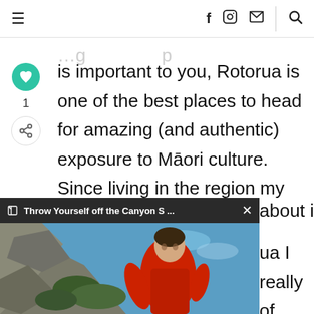≡  f  [instagram]  [mail]  |  [search]
is important to you, Rotorua is one of the best places to head for amazing (and authentic) exposure to Māori culture. Since living in the region my kōrero is peppered with about it.
ua I really of what it lander.
[Figure (screenshot): Browser popup bar showing 'Throw Yourself off the Canyon S...' with a close X button, overlaying a photo of a person in a red jacket on a rocky cliff with blue sky background.]